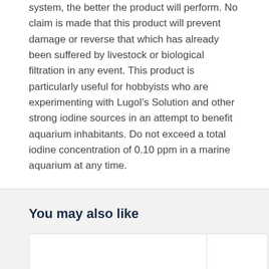system, the better the product will perform. No claim is made that this product will prevent damage or reverse that which has already been suffered by livestock or biological filtration in any event. This product is particularly useful for hobbyists who are experimenting with Lugol's Solution and other strong iodine sources in an attempt to benefit aquarium inhabitants. Do not exceed a total iodine concentration of 0.10 ppm in a marine aquarium at any time.
You may also like
[Figure (other): Two product cards partially visible at the bottom of the page, white background cards with borders]